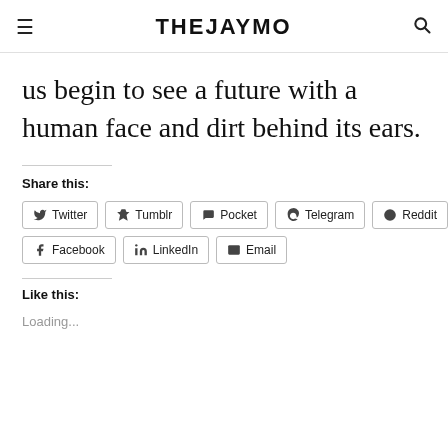THEJAYMO
us begin to see a future with a human face and dirt behind its ears.
Share this:
Twitter  Tumblr  Pocket  Telegram  Reddit  Facebook  LinkedIn  Email
Like this:
Loading...